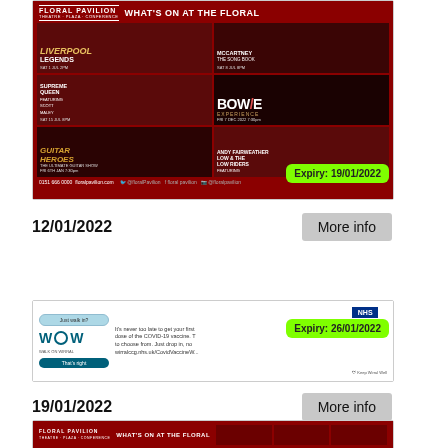[Figure (screenshot): Floral Pavilion theatre advertisement showing What's On listings including McCartney The Song Book, Supreme Queen, Bowie Experience, Guitar Heroes, Andy Fairweather Low. Red background with event grid. Expiry badge: 19/01/2022.]
12/01/2022
More info
[Figure (screenshot): NHS WoW (Walk on Wirral) COVID-19 vaccine advertisement. Just walk in. It's never too late to get your first dose of the COVID-19 vaccine. Text cut off. wirralccg.nhs.uk/CovidVaccine/... Keep Wirral Well. Expiry badge: 26/01/2022.]
19/01/2022
More info
[Figure (screenshot): Floral Pavilion What's On advertisement (partial, bottom of page). Same red background layout as first card.]